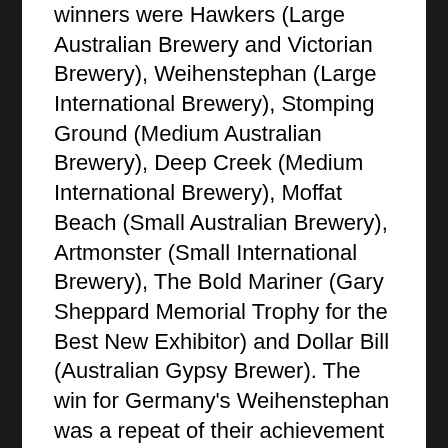winners were Hawkers (Large Australian Brewery and Victorian Brewery), Weihenstephan (Large International Brewery), Stomping Ground (Medium Australian Brewery), Deep Creek (Medium International Brewery), Moffat Beach (Small Australian Brewery), Artmonster (Small International Brewery), The Bold Mariner (Gary Sheppard Memorial Trophy for the Best New Exhibitor) and Dollar Bill (Australian Gypsy Brewer). The win for Germany's Weihenstephan was a repeat of their achievement at the AIBAs last year while Dollar Bill were again among the trophy winners after winning Champion Australian Beer last year with their Gold Teeth wild ale.